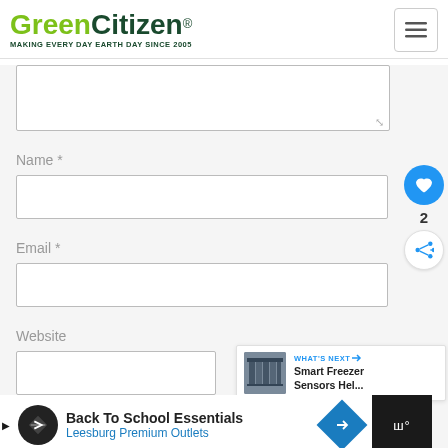GreenCitizen® MAKING EVERY DAY EARTH DAY SINCE 2005
[Figure (screenshot): Web form with textarea (partially visible), Name field, Email field, Website field, social sidebar with heart/share icons, What's Next card for Smart Freezer Sensors, and advertisement bar for Back To School Essentials - Leesburg Premium Outlets]